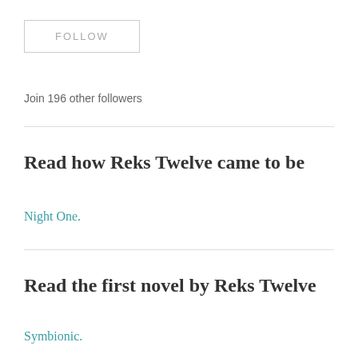FOLLOW
Join 196 other followers
Read how Reks Twelve came to be
Night One.
Read the first novel by Reks Twelve
Symbionic.